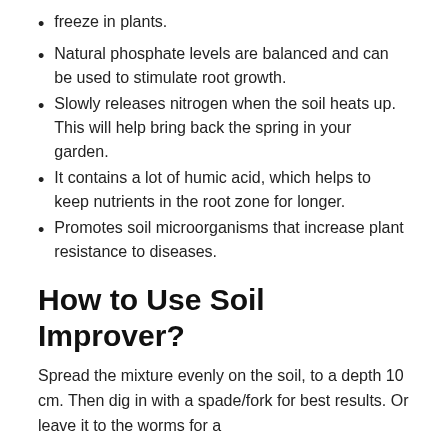freeze in plants.
Natural phosphate levels are balanced and can be used to stimulate root growth.
Slowly releases nitrogen when the soil heats up. This will help bring back the spring in your garden.
It contains a lot of humic acid, which helps to keep nutrients in the root zone for longer.
Promotes soil microorganisms that increase plant resistance to diseases.
How to Use Soil Improver?
Spread the mixture evenly on the soil, to a depth 10 cm. Then dig in with a spade/fork for best results. Or leave it to the worms for a